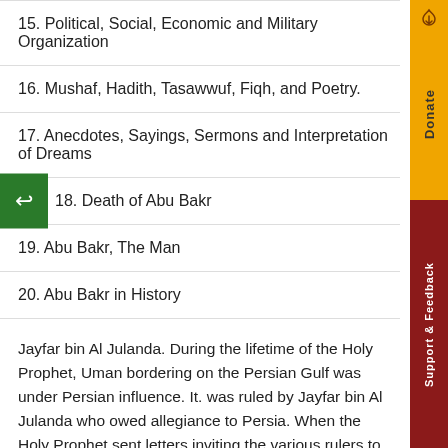15. Political, Social, Economic and Military Organization
16. Mushaf, Hadith, Tasawwuf, Fiqh, and Poetry.
17. Anecdotes, Sayings, Sermons and Interpretation of Dreams
18. Death of Abu Bakr
19. Abu Bakr, The Man
20. Abu Bakr in History
Jayfar bin Al Julanda. During the lifetime of the Holy Prophet, Uman bordering on the Persian Gulf was under Persian influence. It. was ruled by Jayfar bin Al Julanda who owed allegiance to Persia. When the Holy Prophet sent letters inviting the various rulers to Islam, a letter was